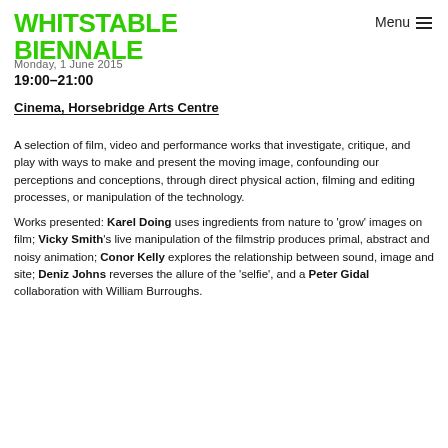WHITSTABLE BIENNALE | Menu
Monday, 1 June 2015
19:00–21:00
Cinema, Horsebridge Arts Centre
A selection of film, video and performance works that investigate, critique, and play with ways to make and present the moving image, confounding our perceptions and conceptions, through direct physical action, filming and editing processes, or manipulation of the technology.
Works presented: Karel Doing uses ingredients from nature to 'grow' images on film; Vicky Smith's live manipulation of the filmstrip produces primal, abstract and noisy animation; Conor Kelly explores the relationship between sound, image and site; Deniz Johns reverses the allure of the 'selfie', and a Peter Gidal collaboration with William Burroughs.